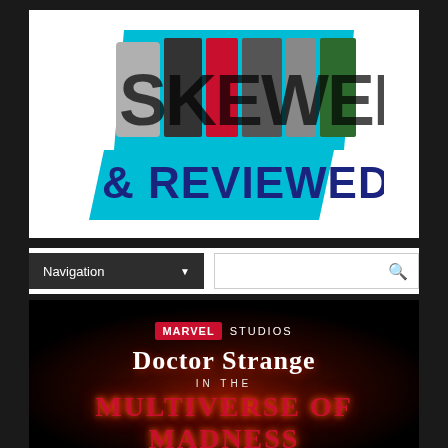[Figure (logo): Skewed & Reviewed website logo with teal parallelogram background, 'SKEWED' text with photo collage fill and '& REVIEWED' in dark navy bold text below]
Navigation ▼
[Figure (screenshot): Doctor Strange in the Multiverse of Madness movie title card on black background with Marvel Studios branding, glowing red title text]
MARVEL STUDIOS Doctor Strange IN THE MULTIVERSE OF MADNESS